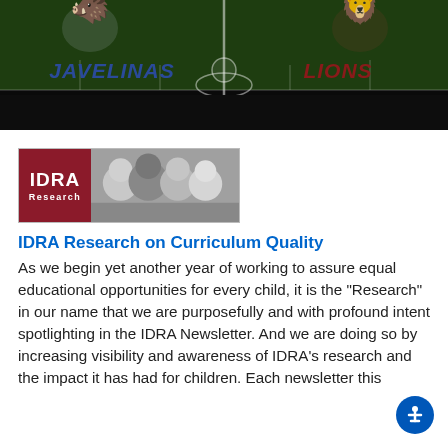[Figure (illustration): Football field banner showing two team mascots (a Javelina on the left and a Lion on the right) with team names 'JAVELINAS' and 'LIONS' in italic bold text, separated by a center field line on a dark green field background.]
[Figure (logo): IDRA Research banner logo with dark red/maroon background showing 'IDRA Research' text on the left and a black-and-white photo of smiling children on the right.]
IDRA Research on Curriculum Quality
As we begin yet another year of working to assure equal educational opportunities for every child, it is the “Research” in our name that we are purposefully and with profound intent spotlighting in the IDRA Newsletter. And we are doing so by increasing visibility and awareness of IDRA’s research and the impact it has had for children. Each newsletter this